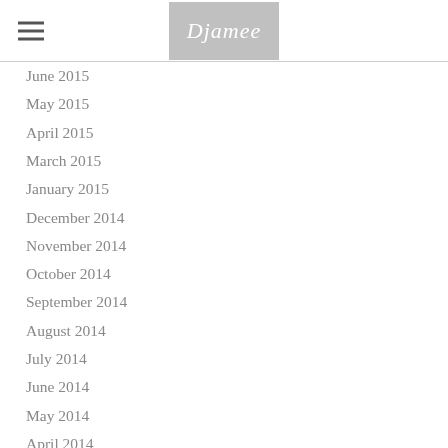Djamee
June 2015
May 2015
April 2015
March 2015
January 2015
December 2014
November 2014
October 2014
September 2014
August 2014
July 2014
June 2014
May 2014
April 2014
March 2014
February 2014
January 2014